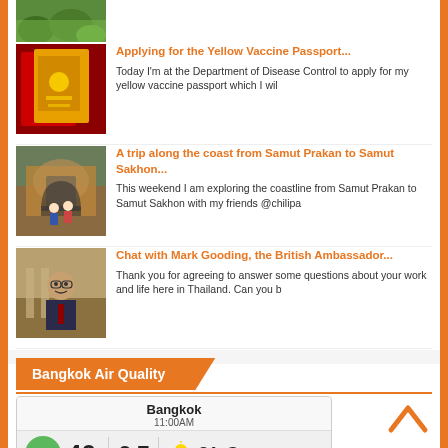[Figure (photo): Partial view of green landscape/nature thumbnail at top (cropped)]
[Figure (photo): Passport/documents photo thumbnail - red and yellow passports]
Applying for the Yellow Vaccine Passport...
Today I'm at the Department of Disease Control to apply for my yellow vaccine passport which I wil
[Figure (photo): Brick archway/historical site with people thumbnail]
A trip along the coast from Samut Prakan to Samut Sakhon...
This weekend I am exploring the coastline from Samut Prakan to Samut Sakhon with my friends @chilipa
[Figure (photo): Portrait of man in suit - Mark Gooding, British Ambassador]
Chat with Mark Gooding, the British Ambassador...
Thank you for agreeing to answer some questions about your work and life here in Thailand. Can you b
Bangkok Air Quality
[Figure (infographic): Bangkok Air Quality widget showing Bangkok 11:00AM, AQI 40, PM 9.7, weather icon with 31°C]